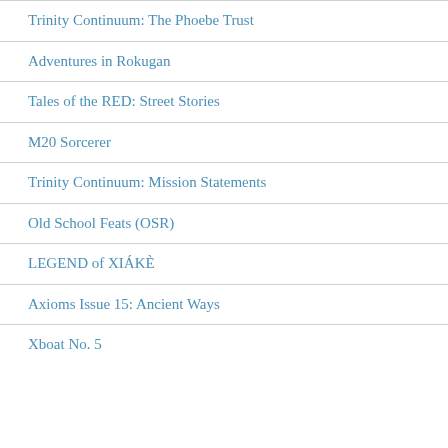Trinity Continuum: The Phoebe Trust
Adventures in Rokugan
Tales of the RED: Street Stories
M20 Sorcerer
Trinity Continuum: Mission Statements
Old School Feats (OSR)
LEGEND of XIÁKÈ
Axioms Issue 15: Ancient Ways
Xboat No. 5